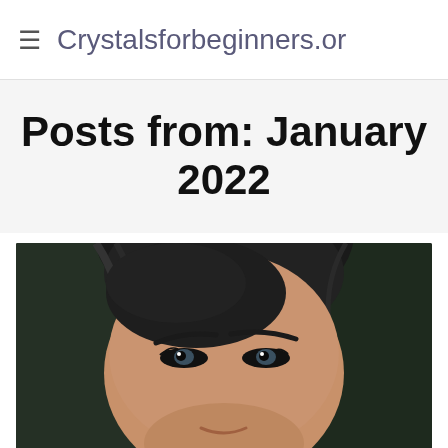≡  Crystalsforbeginners.or
Posts from: January 2022
[Figure (photo): Close-up portrait photo of a young Asian woman smiling, showing her eyes and hair against a dark background]